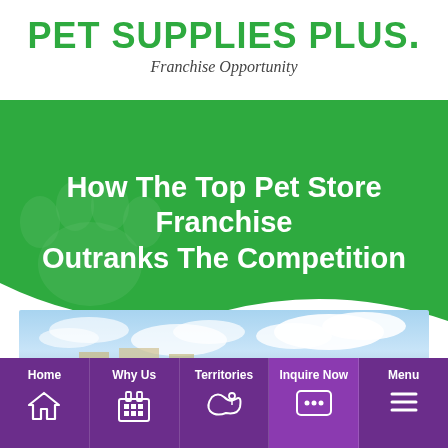PET SUPPLIES PLUS. Franchise Opportunity
How The Top Pet Store Franchise Outranks The Competition
[Figure (photo): Sky and clouds photo strip, cropped website screenshot]
Home | Why Us | Territories | Inquire Now | Menu — navigation bar in purple